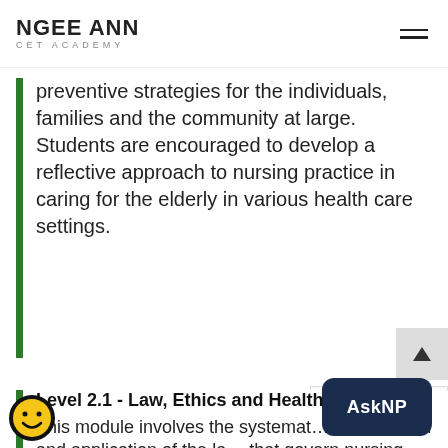NGEE ANN CET ACADEMY
preventive strategies for the individuals, families and the community at large. Students are encouraged to develop a reflective approach to nursing practice in caring for the elderly in various health care settings.
Level 2.1 - Law, Ethics and Healthcare
This module involves the systematic examination and application of the law that govern nursing practice, explore